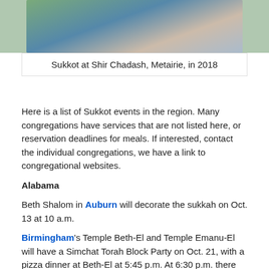[Figure (photo): Photo of people at Sukkot event, outdoor gathering, colorful clothing]
Sukkot at Shir Chadash, Metairie, in 2018
Here is a list of Sukkot events in the region. Many congregations have services that are not listed here, or reservation deadlines for meals. If interested, contact the individual congregations, we have a link to congregational websites.
Alabama
Beth Shalom in Auburn will decorate the sukkah on Oct. 13 at 10 a.m.
Birmingham's Temple Beth-El and Temple Emanu-El will have a Simchat Torah Block Party on Oct. 21, with a pizza dinner at Beth-El at 5:45 p.m. At 6:30 p.m. there will be a Torah processional down Highland Avenue to Emanu-El, with music by the Magic Shtetl Klezmer Band, an intergenerational program, dancing and sundaes.
Temple Beth-El in Birmingham will have a dinner in the sukkah,